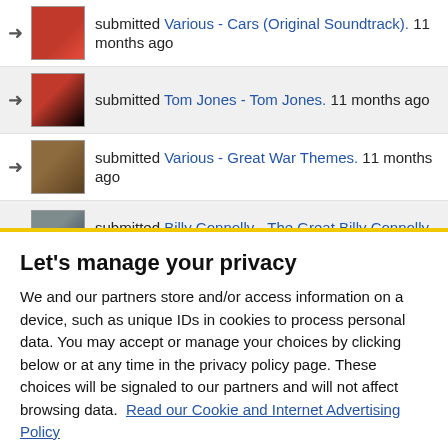submitted Various - Cars (Original Soundtrack). 11 months ago
submitted Tom Jones - Tom Jones. 11 months ago
submitted Various - Great War Themes. 11 months ago
submitted Billy Connolly - The Great Billy Connolly. 11 months ago
submitted Various - The Ultimate Seventies Collection. 11 months ago
Let's manage your privacy
We and our partners store and/or access information on a device, such as unique IDs in cookies to process personal data. You may accept or manage your choices by clicking below or at any time in the privacy policy page. These choices will be signaled to our partners and will not affect browsing data. Read our Cookie and Internet Advertising Policy